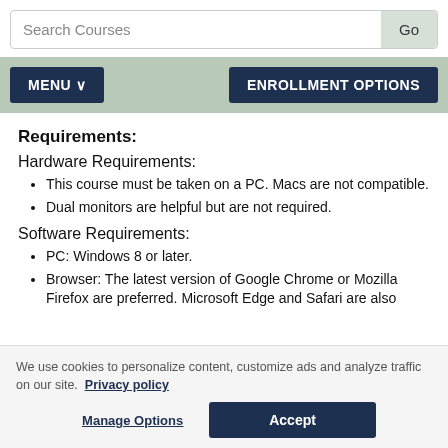Search Courses  Go
MENU ∨   ENROLLMENT OPTIONS
Requirements:
Hardware Requirements:
This course must be taken on a PC. Macs are not compatible.
Dual monitors are helpful but are not required.
Software Requirements:
PC: Windows 8 or later.
Browser: The latest version of Google Chrome or Mozilla Firefox are preferred. Microsoft Edge and Safari are also
We use cookies to personalize content, customize ads and analyze traffic on our site.  Privacy policy
Manage Options   Accept